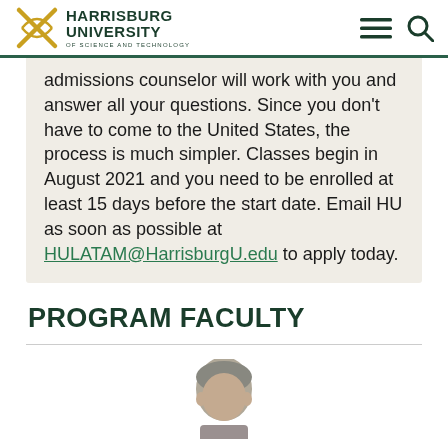Harrisburg University of Science and Technology
admissions counselor will work with you and answer all your questions. Since you don't have to come to the United States, the process is much simpler. Classes begin in August 2021 and you need to be enrolled at least 15 days before the start date. Email HU as soon as possible at HULATAM@HarrisburgU.edu to apply today.
PROGRAM FACULTY
[Figure (photo): Partial photo of a person's head/face at the bottom of the page]